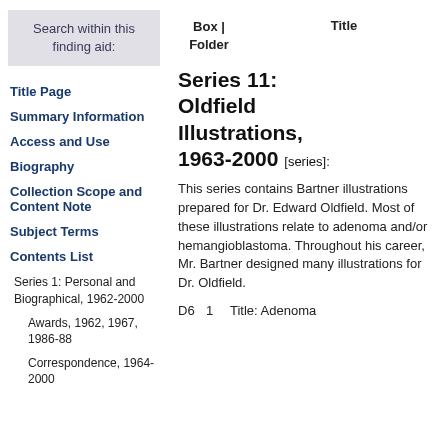Search within this finding aid:
Title Page
Summary Information
Access and Use
Biography
Collection Scope and Content Note
Subject Terms
Contents List
Series 1: Personal and Biographical, 1962-2000
Awards, 1962, 1967, 1986-88
Correspondence, 1964-2000
| Box | Folder | Title |
| --- | --- |
|  | Series 11: Oldfield Illustrations, 1963-2000 [series]: |
|  | This series contains Bartner illustrations prepared for Dr. Edward Oldfield. Most of these illustrations relate to adenoma and/or hemangioblastoma. Throughout his career, Mr. Bartner designed many illustrations for Dr. Oldfield. |
| D6  1 | Title: Adenoma |